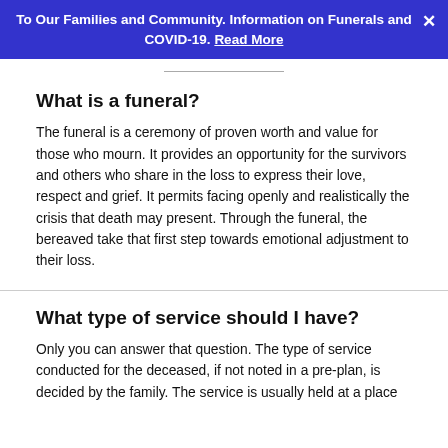To Our Families and Community. Information on Funerals and COVID-19. Read More
What is a funeral?
The funeral is a ceremony of proven worth and value for those who mourn. It provides an opportunity for the survivors and others who share in the loss to express their love, respect and grief. It permits facing openly and realistically the crisis that death may present. Through the funeral, the bereaved take that first step towards emotional adjustment to their loss.
What type of service should I have?
Only you can answer that question. The type of service conducted for the deceased, if not noted in a pre-plan, is decided by the family. The service is usually held at a place